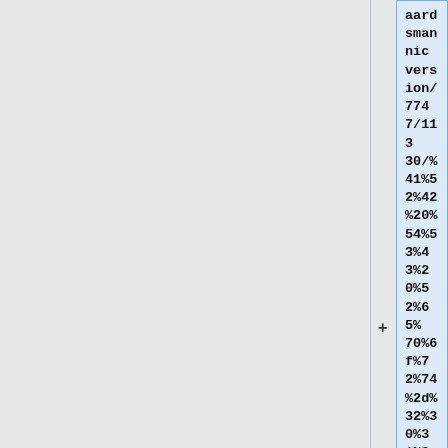aardsmannic version/7747/11330/%41%52%42%20%54%53%43%20%52%65%70%6f%72%74%2d%32%30%31%34%2d%30%31%2d%31%39%2e%70%70%74%78 presentation]
#* BAM-lite: ArB working through BAM-lite, through first 5 chapters. Very challenging but expect to distribute before next WGM